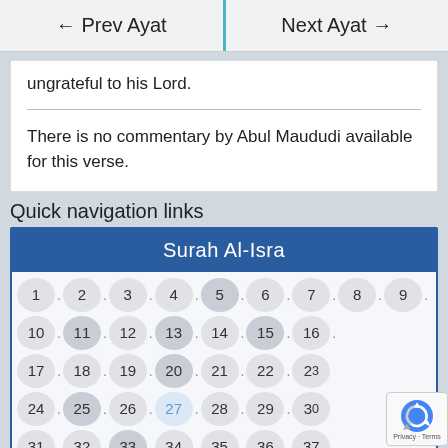← Prev Ayat   Next Ayat →
ungrateful to his Lord.
There is no commentary by Abul Maududi available for this verse.
Quick navigation links
| Surah Al-Isra |
| --- |
| 1 | 2 | 3 | 4 | 5 | 6 | 7 | 8 | 9 |
| 10 | 11 | 12 | 13 | 14 | 15 | 16 |
| 17 | 18 | 19 | 20 | 21 | 22 | 23 |
| 24 | 25 | 26 | 27 | 28 | 29 | 30 |
| 31 | 32 | 33 | 34 | 35 | 36 | 37 |